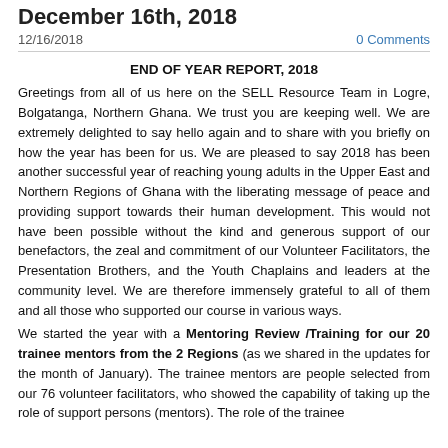December 16th, 2018
12/16/2018    0 Comments
END OF YEAR REPORT, 2018
Greetings from all of us here on the SELL Resource Team in Logre, Bolgatanga, Northern Ghana. We trust you are keeping well. We are extremely delighted to say hello again and to share with you briefly on how the year has been for us. We are pleased to say 2018 has been another successful year of reaching young adults in the Upper East and Northern Regions of Ghana with the liberating message of peace and providing support towards their human development. This would not have been possible without the kind and generous support of our benefactors, the zeal and commitment of our Volunteer Facilitators, the Presentation Brothers, and the Youth Chaplains and leaders at the community level. We are therefore immensely grateful to all of them and all those who supported our course in various ways.
We started the year with a Mentoring Review /Training for our 20 trainee mentors from the 2 Regions (as we shared in the updates for the month of January). The trainee mentors are people selected from our 76 volunteer facilitators, who showed the capability of taking up the role of support persons (mentors). The role of the trainee